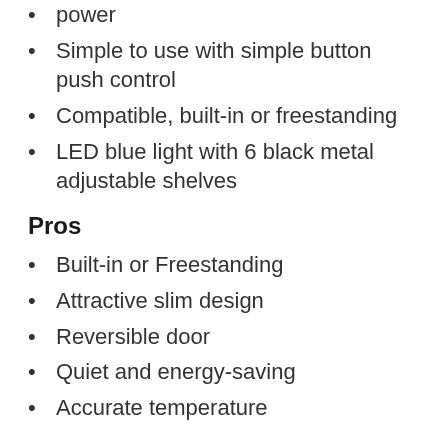power
Simple to use with simple button push control
Compatible, built-in or freestanding
LED blue light with 6 black metal adjustable shelves
Pros
Built-in or Freestanding
Attractive slim design
Reversible door
Quiet and energy-saving
Accurate temperature